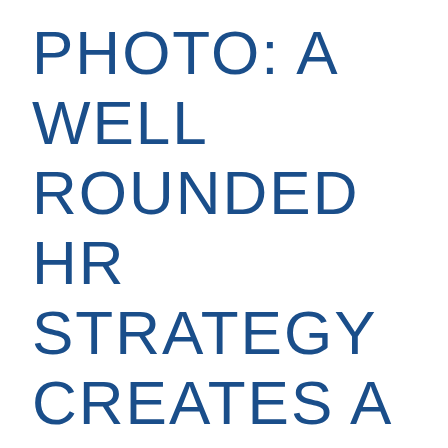PHOTO: A WELL ROUNDED HR STRATEGY CREATES A HOME FOR EMPLOYEES